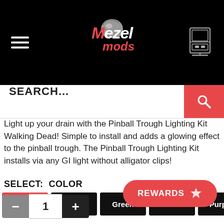[Figure (logo): Mezel Mods logo with pinball on black header background, hamburger menu icon on left, arcade cabinet icon on right]
[Figure (screenshot): Search bar with SEARCH... placeholder text and red search button]
Light up your drain with the Pinball Trough Lighting Kit Walking Dead! Simple to install and adds a glowing effect to the pinball trough. The Pinball Trough Lighting Kit installs via any GI light without alligator clips!
SELECT:  COLOR
[Figure (screenshot): Color selection buttons: White (red/selected), Red (black), Green (black), Blue (black), Purple (black)]
[Figure (screenshot): REWARDS button (red, pill-shaped) and quantity controls with minus, 1, plus buttons]